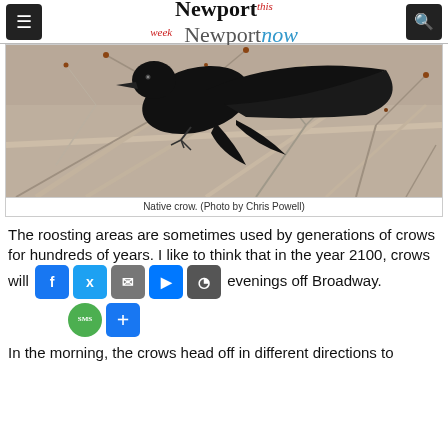Newport this week Newport now
[Figure (photo): A native crow perched on bare winter branches with reddish-brown buds, black bird visible against grayish-beige background of twigs.]
Native crow. (Photo by Chris Powell)
The roosting areas are sometimes used by generations of crows for hundreds of years. I like to think that in the year 2100, crows will be gathering on winter evenings off Broadway.
In the morning, the crows head off in different directions to